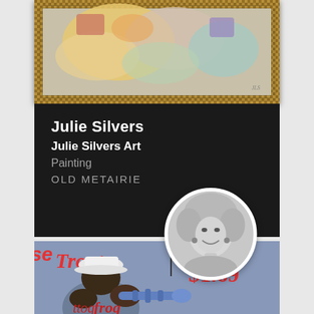[Figure (photo): Top portion of a framed painting with ornate bronze/gold frame, showing abstract colorful artwork with pastel tones]
Julie Silvers
Julie Silvers Art
Painting
OLD METAIRIE
[Figure (photo): Black and white circular profile photo of a smiling blonde woman]
[Figure (photo): Bottom portion of a colorful painting showing a jazz musician playing trumpet, with text signs reading 'Trout', 'BBQ Swi...', '$1.69', 'frog' in red lettering on blue background]